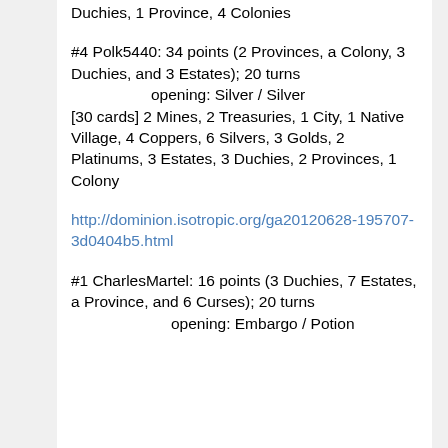Duchies, 1 Province, 4 Colonies
#4 Polk5440: 34 points (2 Provinces, a Colony, 3 Duchies, and 3 Estates); 20 turns
    opening: Silver / Silver
    [30 cards] 2 Mines, 2 Treasuries, 1 City, 1 Native Village, 4 Coppers, 6 Silvers, 3 Golds, 2 Platinums, 3 Estates, 3 Duchies, 2 Provinces, 1 Colony
http://dominion.isotropic.org/ga20120628-195707-3d0404b5.html
#1 CharlesMartel: 16 points (3 Duchies, 7 Estates, a Province, and 6 Curses); 20 turns
    opening: Embargo / Potion